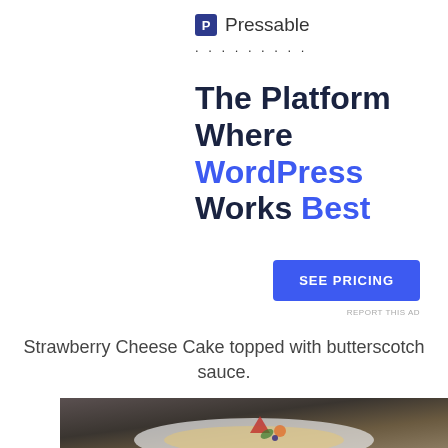P Pressable
. . . . . . . . .
The Platform Where WordPress Works Best
SEE PRICING
Strawberry Cheese Cake topped with butterscotch sauce.
[Figure (photo): A plate of strawberry cheesecake topped with butterscotch sauce, garnished with strawberries, orange fruit, mint leaves, and a blueberry, on a white plate in a restaurant setting]